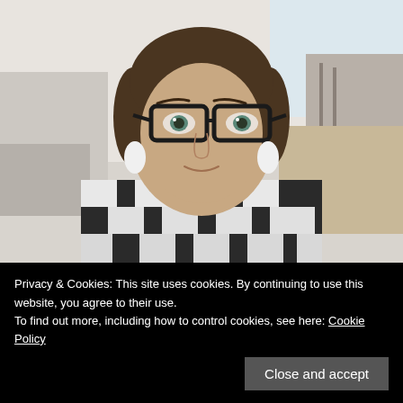[Figure (photo): Portrait photo of a woman with dark hair in a bun, wearing dark-framed glasses and a black and white checkered top, taking a selfie indoors.]
Welcome! I'm April. I share quilting and fabric posts as well as other awesome things. :) I design fabric for Moda
Privacy & Cookies: This site uses cookies. By continuing to use this website, you agree to their use.
To find out more, including how to control cookies, see here: Cookie Policy
Close and accept